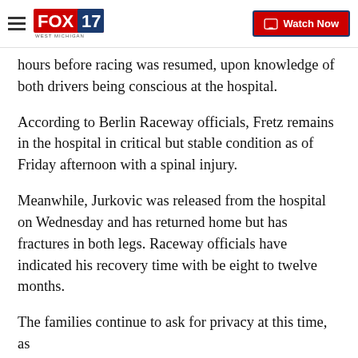FOX 17 West Michigan | Watch Now
hours before racing was resumed, upon knowledge of both drivers being conscious at the hospital.
According to Berlin Raceway officials, Fretz remains in the hospital in critical but stable condition as of Friday afternoon with a spinal injury.
Meanwhile, Jurkovic was released from the hospital on Wednesday and has returned home but has fractures in both legs. Raceway officials have indicated his recovery time with be eight to twelve months.
The families continue to ask for privacy at this time, as the Berlin Raceway continues to update the…